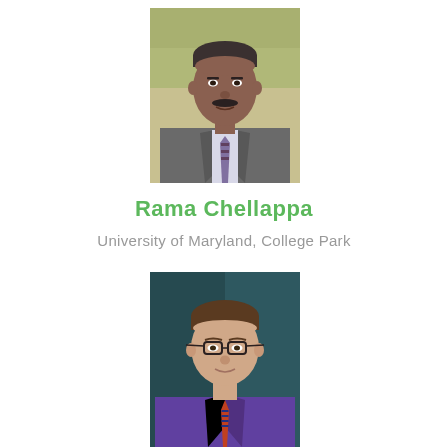[Figure (photo): Headshot of Rama Chellappa, a middle-aged man with a mustache wearing a grey suit and tie]
Rama Chellappa
University of Maryland, College Park
[Figure (photo): Headshot of a man with glasses wearing a purple shirt and striped tie, against a teal background]